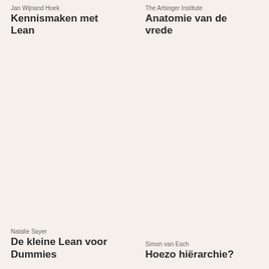Jan Wijnand Hoek
Kennismaken met Lean
The Arbinger Institute
Anatomie van de vrede
Natalie Sayer
De kleine Lean voor Dummies
Simon van Esch
Hoezo hiërarchie?